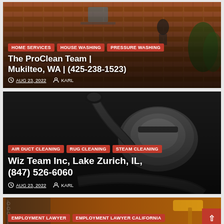[Figure (photo): Card 1: Roof cleaning/pressure washing photo with worker on roof. Tags: HOME SERVICES, HOUSE WASHING, PRESSURE WASHING. Title: The ProClean Team | Mukilteo, WA | (425-238-1523). Date: AUG 23, 2022. Author: KARL.]
[Figure (photo): Card 2: Steam/vacuum cleaner machine photo on dark background. Tags: AIR DUCT CLEANING, RUG CLEANING, STEAM CLEANING. Title: Wiz Team Inc, Lake Zurich, IL, (847) 526-6060. Date: AUG 23, 2022. Author: KARL.]
[Figure (photo): Card 3: Notebook and gavel on warm-toned background, partially visible. Tags: EMPLOYMENT LAWYER, EMPLOYMENT LAWYER CALIFORNIA.]